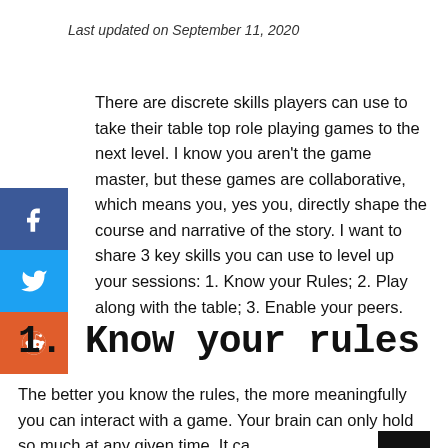Last updated on September 11, 2020
There are discrete skills players can use to take their table top role playing games to the next level. I know you aren't the game master, but these games are collaborative, which means you, yes you, directly shape the course and narrative of the story. I want to share 3 key skills you can use to level up your sessions: 1. Know your Rules; 2. Play along with the table; 3. Enable your peers.
1. Know your rules
The better you know the rules, the more meaningfully you can interact with a game. Your brain can only hold so much at any given time. It ca